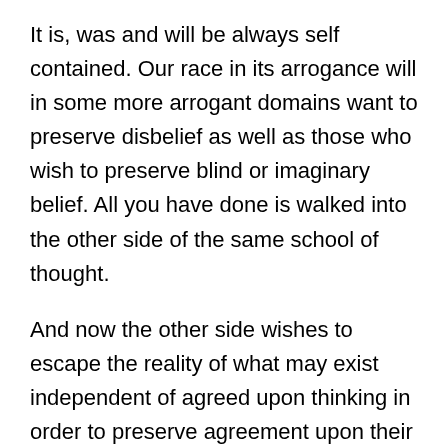It is, was and will be always self contained. Our race in its arrogance will in some more arrogant domains want to preserve disbelief as well as those who wish to preserve blind or imaginary belief. All you have done is walked into the other side of the same school of thought.
And now the other side wishes to escape the reality of what may exist independent of agreed upon thinking in order to preserve agreement upon their shared misery… at the lack of evidence of what you and others have ‘agreed’ on in your shared belief.
Such a titanic battle in conjecture!!!!!!!!!!! An expression of futility, drunk with the confidence of right or wrong, but with no concern with…